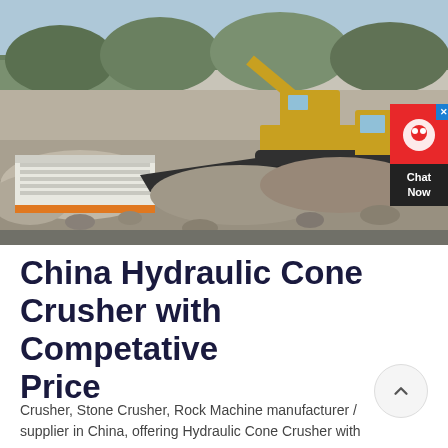[Figure (photo): Construction site with excavator (yellow) and rock crushing machinery in a quarry/earthworks environment. Piles of crushed rock and gravel visible. Trees in background. A red live chat overlay appears in the top-right corner of the image.]
China Hydraulic Cone Crusher with Competative Price
Crusher, Stone Crusher, Rock Machine manufacturer / supplier in China, offering Hydraulic Cone Crusher with